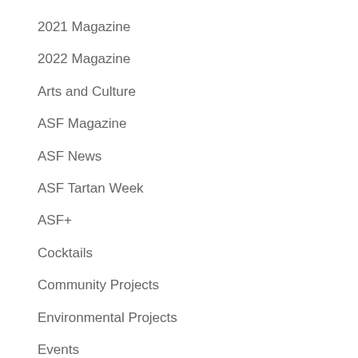2021 Magazine
2022 Magazine
Arts and Culture
ASF Magazine
ASF News
ASF Tartan Week
ASF+
Cocktails
Community Projects
Environmental Projects
Events
Food
Heritage and Preservation
In Memoriam
Initiatives